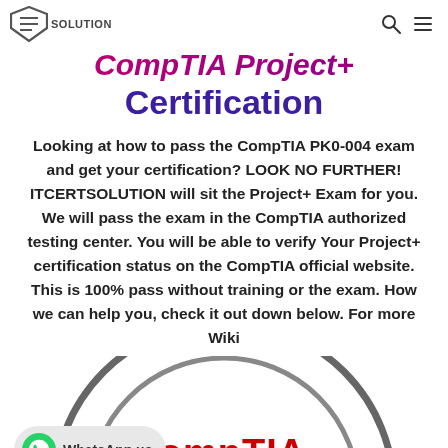SOLUTION
CompTIA Project+ Certification
Looking at how to pass the CompTIA PK0-004 exam and get your certification? LOOK NO FURTHER! ITCERTSOLUTION will sit the Project+ Exam for you. We will pass the exam in the CompTIA authorized testing center. You will be able to verify Your Project+ certification status on the CompTIA official website. This is 100% pass without training or the exam. How we can help you, check it out down below. For more Wiki
[Figure (logo): CompTIA certification badge arc with CompTIA logo in red text and a WhatsApp us bubble overlay]